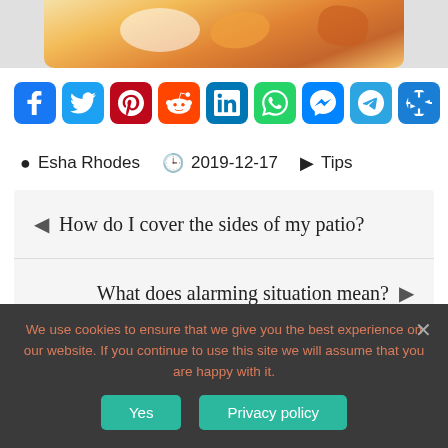[Figure (photo): Partial top of a food photo showing fried/caramelized pieces on a white plate with orange-brown sauce and spices]
[Figure (infographic): Row of social sharing buttons: Facebook, Twitter, Pinterest, Reddit, LinkedIn, WhatsApp, Messenger, Telegram, Share/More]
Esha Rhodes   2019-12-17   Tips
◄ How do I cover the sides of my patio?
What does alarming situation mean? ►
We use cookies to ensure that we give you the best experience on our website. If you continue to use this site we will assume that you are happy with it.
Yes
Privacy policy